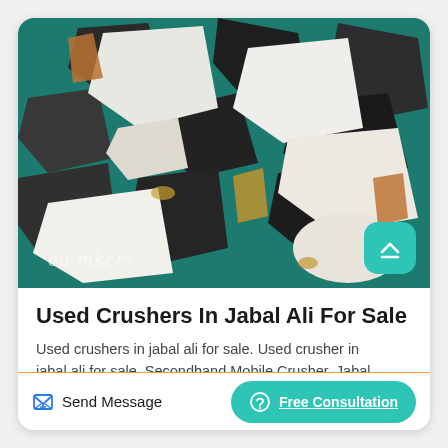[Figure (photo): Close-up photograph of mixed crushed rocks and minerals — dark grey/black pieces, white/ivory chunks, and some orange-brown rust-coloured fragments, on a teal/turquoise background surface. A semi-transparent watermark text is visible at the bottom. A teal scroll-up button sits in the bottom-right corner of the image.]
Used Crushers In Jabal Ali For Sale
Used crushers in jabal ali for sale. Used crusher in jabal ali for sale. Secondhand Mobile Crusher, Jabal
Send Message
Free Consultation